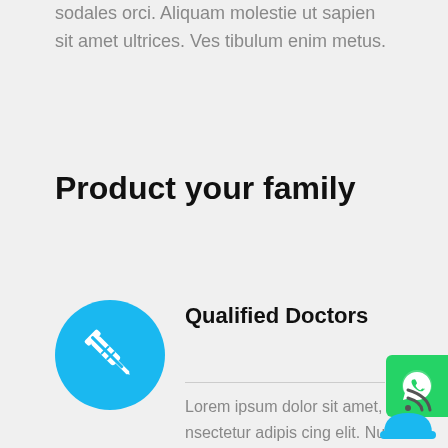sodales orci. Aliquam molestie ut sapien sit amet ultrices. Ves tibulum enim metus.
Product your family
[Figure (illustration): Blue circle icon with white syringe/injection needle]
Qualified Doctors
Lorem ipsum dolor sit amet, nsectetur adipis cing elit. Nullam id arcu tortor. Sed
[Figure (logo): WhatsApp green logo button on right edge]
[Figure (illustration): Blue service bell with wifi signal arc above it]